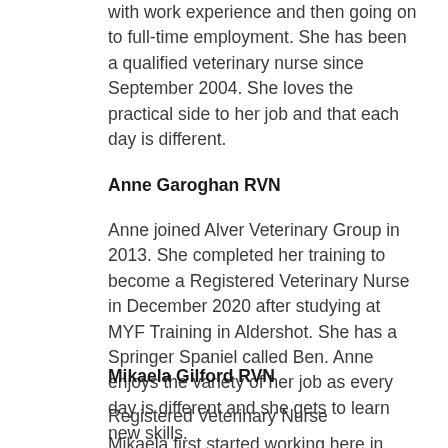with work experience and then going on to full-time employment. She has been a qualified veterinary nurse since September 2004. She loves the practical side to her job and that each day is different.
Anne Garoghan RVN
Anne joined Alver Veterinary Group in 2013. She completed her training to become a Registered Veterinary Nurse in December 2020 after studying at MYF Training in Aldershot. She has a Springer Spaniel called Ben. Anne enjoys the variety of her job as every day is different and she gets to learn new skills.
Mikaela Gilford RVN
Registered Veterinary Nurse
Mikaela first started working here in 2006 and...